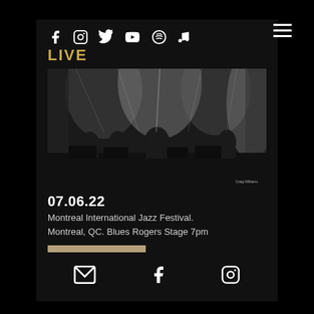[Figure (infographic): Social media icons row: Facebook, Instagram, Twitter, YouTube, Spotify, Music note]
LIVE
[Figure (photo): Black and white concert stage photo with band performing under stage lights]
07.06.22
Montreal International Jazz Festival.
Montreal, QC. Blues Rogers Stage 7pm
[Figure (infographic): Bottom icons row: envelope/email, Facebook, Instagram]